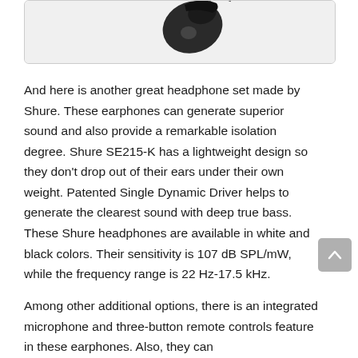[Figure (photo): Partial image of a dark/black Shure SE215-K earphone against a light background, shown at top of page inside a rounded rectangle border]
And here is another great headphone set made by Shure. These earphones can generate superior sound and also provide a remarkable isolation degree. Shure SE215-K has a lightweight design so they don't drop out of their ears under their own weight. Patented Single Dynamic Driver helps to generate the clearest sound with deep true bass. These Shure headphones are available in white and black colors. Their sensitivity is 107 dB SPL/mW, while the frequency range is 22 Hz-17.5 kHz.
Among other additional options, there is an integrated microphone and three-button remote controls feature in these earphones. Also, they can